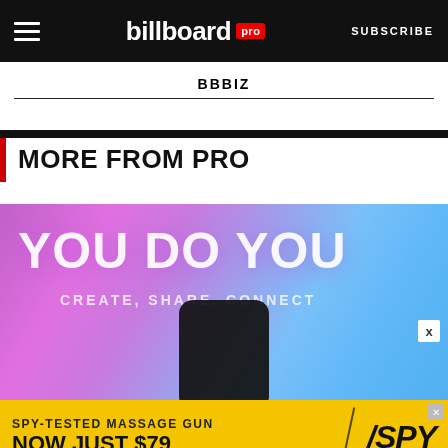billboard pro  SUBSCRIBE
BBBIZ
MORE FROM PRO
[Figure (photo): Colorful pink and blue background with text 'YOU DO YOU' and 'CREATE, SHARE, CONNECT' with a phone silhouette in the foreground]
[Figure (infographic): Advertisement banner: SPY-TESTED MASSAGE GUN NOW JUST $79 with SPY logo on yellow background]